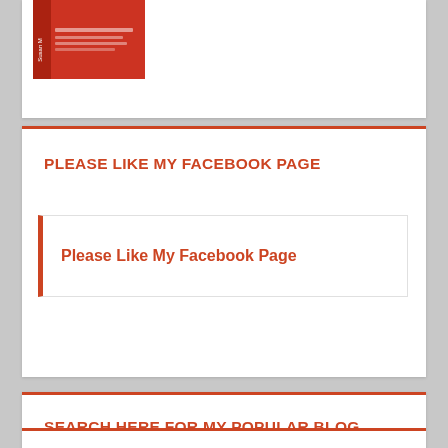[Figure (photo): Partial book cover image with red background showing an author named Susan M and some text, cropped at top of page]
PLEASE LIKE MY FACEBOOK PAGE
Please Like My Facebook Page
SEARCH HERE FOR MY POPULAR BLOG TOPICS!
Search ...